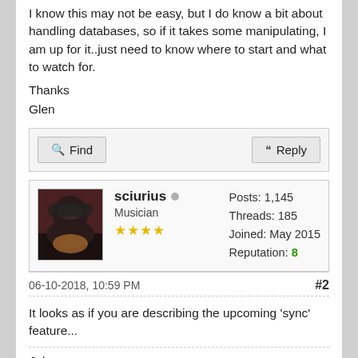I know this may not be easy, but I do know a bit about handling databases, so if it takes some manipulating, I am up for it..just need to know where to start and what to watch for.
Thanks
Glen
Find | Reply (buttons)
sciurius — Musician — Posts: 1,145 — Threads: 185 — Joined: May 2015 — Reputation: 8
06-10-2018, 10:59 PM  #2
It looks as if you are describing the upcoming 'sync' feature...
Johan
johanyromans.nl — hetgeluidvanseotember.nl —